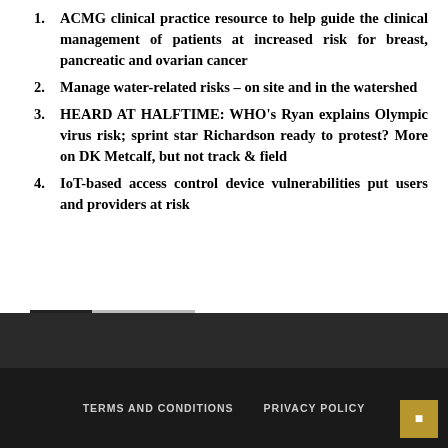ACMG clinical practice resource to help guide the clinical management of patients at increased risk for breast, pancreatic and ovarian cancer
Manage water-related risks – on site and in the watershed
HEARD AT HALFTIME: WHO's Ryan explains Olympic virus risk; sprint star Richardson ready to protest? More on DK Metcalf, but not track & field
IoT-based access control device vulnerabilities put users and providers at risk
TAGS   LONG TERM
TERMS AND CONDITIONS   PRIVACY POLICY